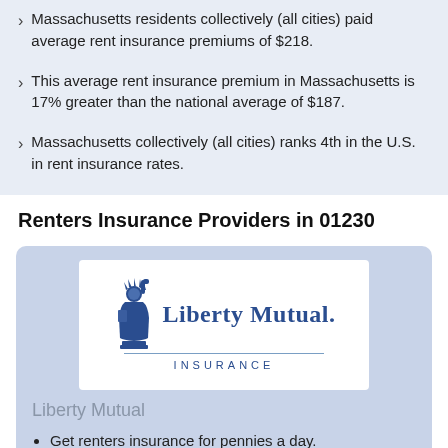Massachusetts residents collectively (all cities) paid average rent insurance premiums of $218.
This average rent insurance premium in Massachusetts is 17% greater than the national average of $187.
Massachusetts collectively (all cities) ranks 4th in the U.S. in rent insurance rates.
Renters Insurance Providers in 01230
[Figure (logo): Liberty Mutual Insurance logo with Statue of Liberty icon and text 'Liberty Mutual. INSURANCE']
Liberty Mutual
Get renters insurance for pennies a day.
24-Hour claims assistance.
Protection from theft, fire, and more.